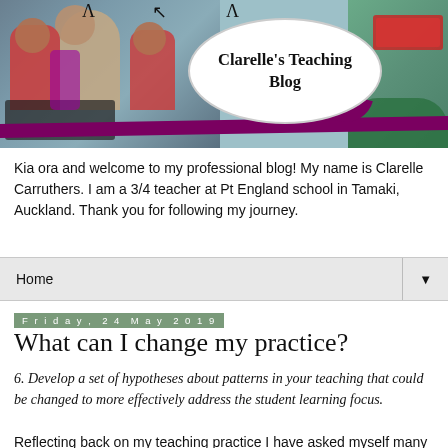[Figure (photo): Blog banner image showing a teacher and students using laptops, with an oval speech bubble reading 'Clarelle's Teaching Blog' and a purple ribbon across the bottom]
Kia ora and welcome to my professional blog! My name is Clarelle Carruthers. I am a 3/4 teacher at Pt England school in Tamaki, Auckland. Thank you for following my journey.
Home
Friday, 24 May 2019
What can I change my practice?
6. Develop a set of hypotheses about patterns in your teaching that could be changed to more effectively address the student learning focus.
Reflecting back on my teaching practice I have asked myself many questions. In this post I have been quite critical of